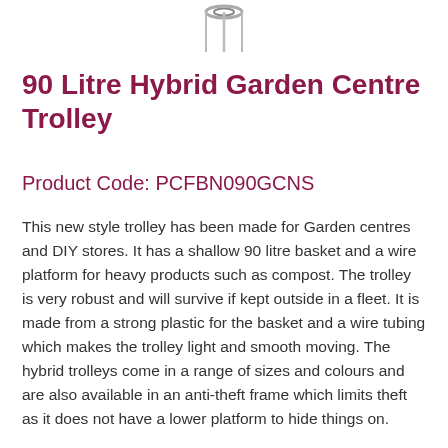[Figure (photo): Partial image of a garden centre trolley, showing the top portion with wheels visible at the top edge of the page.]
90 Litre Hybrid Garden Centre Trolley
Product Code: PCFBN090GCNS
This new style trolley has been made for Garden centres and DIY stores. It has a shallow 90 litre basket and a wire platform for heavy products such as compost. The trolley is very robust and will survive if kept outside in a fleet. It is made from a strong plastic for the basket and a wire tubing which makes the trolley light and smooth moving. The hybrid trolleys come in a range of sizes and colours and are also available in an anti-theft frame which limits theft as it does not have a lower platform to hide things on.